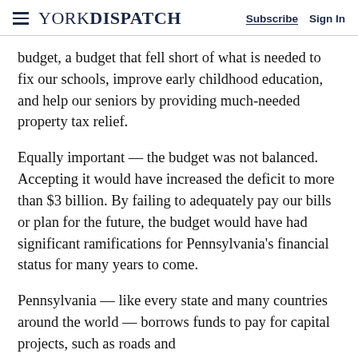YORK DISPATCH | Subscribe  Sign In
budget, a budget that fell short of what is needed to fix our schools, improve early childhood education, and help our seniors by providing much-needed property tax relief.
Equally important — the budget was not balanced. Accepting it would have increased the deficit to more than $3 billion. By failing to adequately pay our bills or plan for the future, the budget would have had significant ramifications for Pennsylvania's financial status for many years to come.
Pennsylvania — like every state and many countries around the world — borrows funds to pay for capital projects, such as roads and